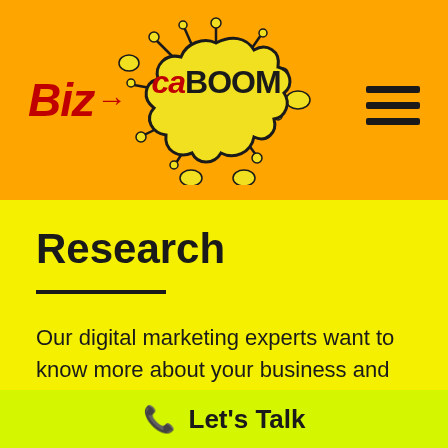[Figure (logo): BizCaBOOM logo: 'Biz' in bold red italic text with arrow, 'caBOOM' in black bold text inside a yellow explosion cloud graphic on an orange background]
[Figure (other): Hamburger menu icon (three horizontal black bars) in the top right of the orange header]
Research
Our digital marketing experts want to know more about your business and get the most information needed to design a website that will help you succeed. This is a must
Let's Talk